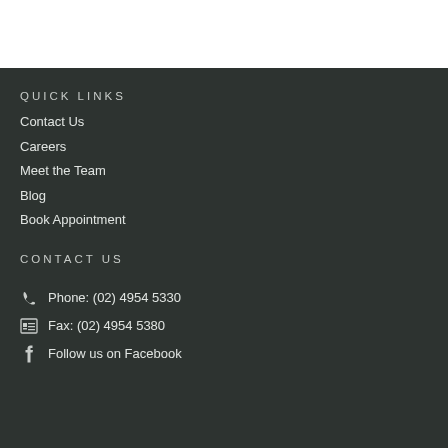QUICK LINKS
Contact Us
Careers
Meet the Team
Blog
Book Appointment
CONTACT US
Phone: (02) 4954 5330
Fax: (02) 4954 5380
Follow us on Facebook